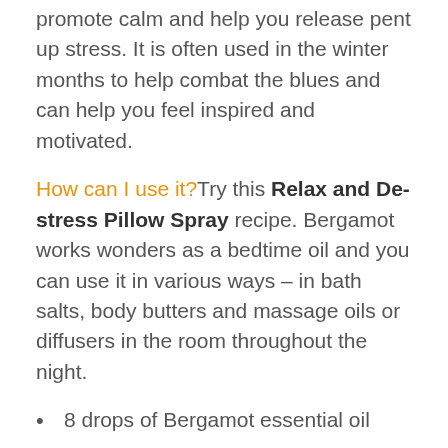promote calm and help you release pent up stress. It is often used in the winter months to help combat the blues and can help you feel inspired and motivated.
How can I use it? Try this Relax and De-stress Pillow Spray recipe. Bergamot works wonders as a bedtime oil and you can use it in various ways – in bath salts, body butters and massage oils or diffusers in the room throughout the night.
8 drops of Bergamot essential oil
4 drops of Lavender essential oil
4 drops of Ylang Ylang essential oil
Lavender hydrosol